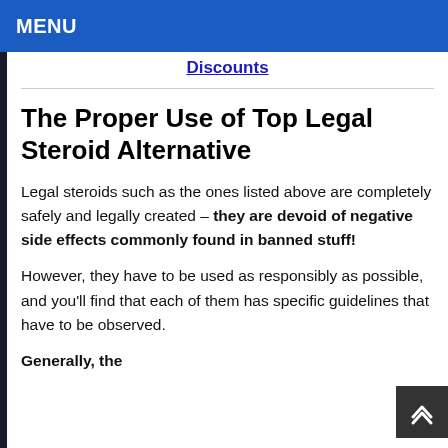MENU
Discounts
The Proper Use of Top Legal Steroid Alternative
Legal steroids such as the ones listed above are completely safely and legally created – they are devoid of negative side effects commonly found in banned stuff!
However, they have to be used as responsibly as possible, and you'll find that each of them has specific guidelines that have to be observed.
Generally, the...